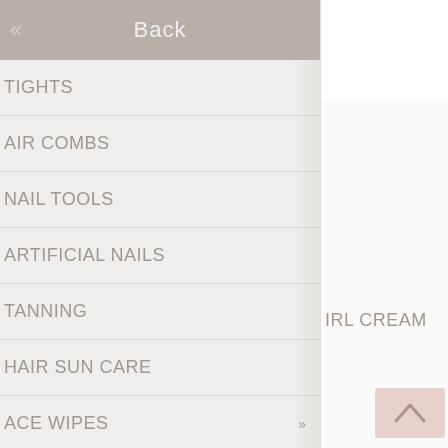Back
TIGHTS
AIR COMBS
NAIL TOOLS
ARTIFICIAL NAILS
TANNING
HAIR SUN CARE
ACE WIPES
ACE MASQUE
IRL CREAM